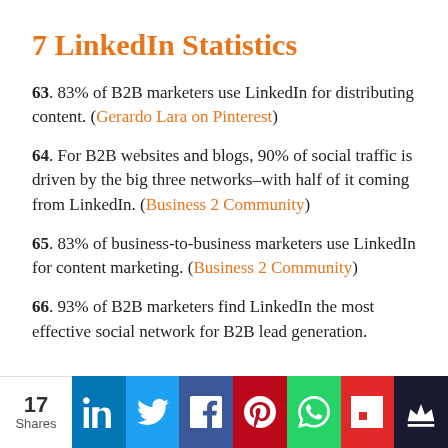7 LinkedIn Statistics
63. 83% of B2B marketers use LinkedIn for distributing content. (Gerardo Lara on Pinterest)
64. For B2B websites and blogs, 90% of social traffic is driven by the big three networks–with half of it coming from LinkedIn. (Business 2 Community)
65. 83% of business-to-business marketers use LinkedIn for content marketing. (Business 2 Community)
66. 93% of B2B marketers find LinkedIn the most effective social network for B2B lead generation.
17 Shares | LinkedIn | Twitter | Facebook | Pinterest | WhatsApp | Flipboard | Crown